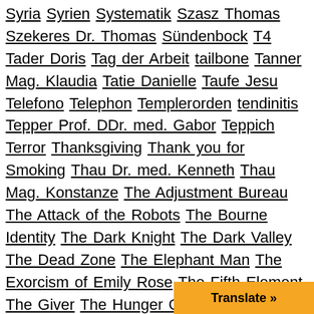Syria Syrien Systematik Szasz Thomas Szekeres Dr. Thomas Sündenbock T4 Tader Doris Tag der Arbeit tailbone Tanner Mag. Klaudia Tatie Danielle Taufe Jesu Telefono Telephon Templerorden tendinitis Tepper Prof. DDr. med. Gabor Teppich Terror Thanksgiving Thank you for Smoking Thau Dr. med. Kenneth Thau Mag. Konstanze The Adjustment Bureau The Attack of the Robots The Bourne Identity The Dark Knight The Dark Valley The Dead Zone The Elephant Man The Exorcism of Emily Rose The Fifth Element The Giver The Hunger Games The Hungry Glass The Imaginarium of Doctor Parnassus The Little Princess (Shirley Temple) The Manchurian Candidate The Maze Runner The Messenger: The Story of Joan of Arc The Point of No Return The Princess Bride The Simpson Cartoons The Stepford Wives Theta Theta-Programmierung The Terminal Man The Unknown Woman The War of the Zombies The Wave Thorax- und Abdominaltrauma Thoth Thule Tl Till Daniela time travel Tisha B¨Av Tockner Dr. med. Armin Tod dem Verrät...
Translate »